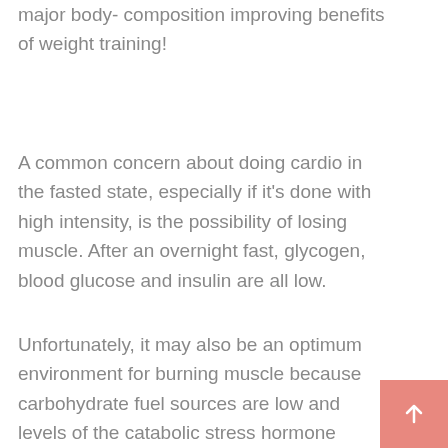major body- composition improving benefits of weight training!
A common concern about doing cardio in the fasted state, especially if it's done with high intensity, is the possibility of losing muscle. After an overnight fast, glycogen, blood glucose and insulin are all low.
Unfortunately, it may also be an optimum environment for burning muscle because carbohydrate fuel sources are low and levels of the catabolic stress hormone cortisol are high. It sounds like morning cardio might be a double-edged sword, but there are ways to avert muscle loss.